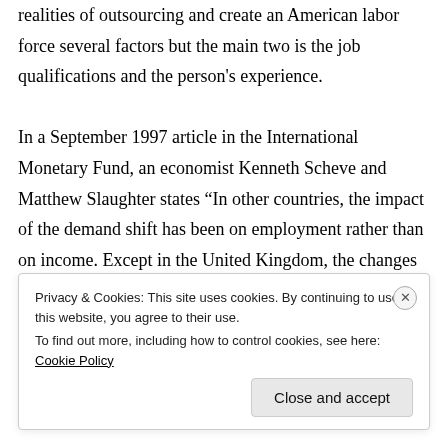realities of outsourcing and create an American labor force several factors but the main two is the job qualifications and the person's experience. In a September 1997 article in the International Monetary Fund, an economist Kenneth Scheve and Matthew Slaughter states “In other countries, the impact of the demand shift has been on employment rather than on income. Except in the United Kingdom, the changes in wage differentials have generally been much less marked than in the United States. Countries
Privacy & Cookies: This site uses cookies. By continuing to use this website, you agree to their use.
To find out more, including how to control cookies, see here: Cookie Policy

Close and accept